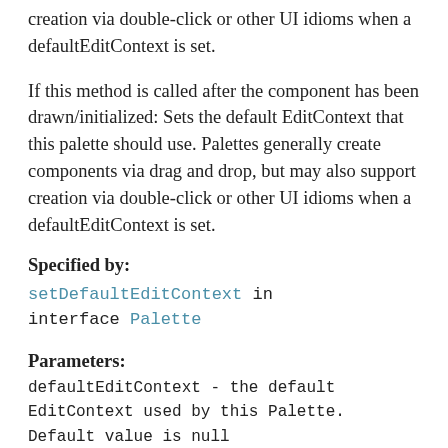creation via double-click or other UI idioms when a defaultEditContext is set.
If this method is called after the component has been drawn/initialized: Sets the default EditContext that this palette should use. Palettes generally create components via drag and drop, but may also support creation via double-click or other UI idioms when a defaultEditContext is set.
Specified by:
setDefaultEditContext in interface Palette
Parameters:
defaultEditContext - the default EditContext used by this Palette. Default value is null
Returns: